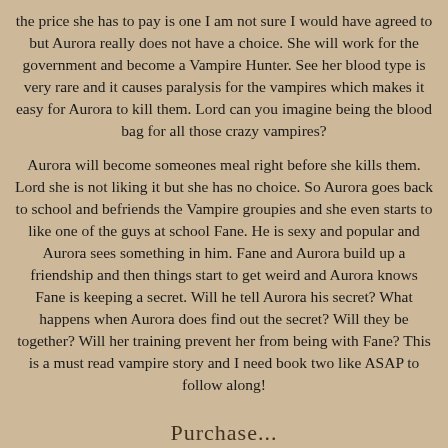the price she has to pay is one I am not sure I would have agreed to but Aurora really does not have a choice. She will work for the government and become a Vampire Hunter. See her blood type is very rare and it causes paralysis for the vampires which makes it easy for Aurora to kill them. Lord can you imagine being the blood bag for all those crazy vampires?
Aurora will become someones meal right before she kills them. Lord she is not liking it but she has no choice. So Aurora goes back to school and befriends the Vampire groupies and she even starts to like one of the guys at school Fane. He is sexy and popular and Aurora sees something in him. Fane and Aurora build up a friendship and then things start to get weird and Aurora knows Fane is keeping a secret. Will he tell Aurora his secret? What happens when Aurora does find out the secret? Will they be together? Will her training prevent her from being with Fane? This is a must read vampire story and I need book two like ASAP to follow along!
Purchase...